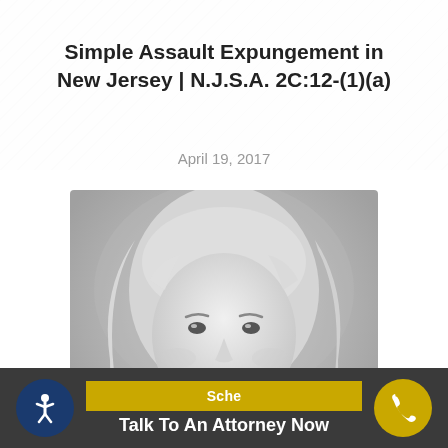Simple Assault Expungement in New Jersey | N.J.S.A. 2C:12-(1)(a)
April 19, 2017
[Figure (photo): Black and white professional headshot of a blonde woman in a dark blazer, smiling, legal professional portrait]
Talk To An Attorney Now | Schedule | accessibility icon | phone icon